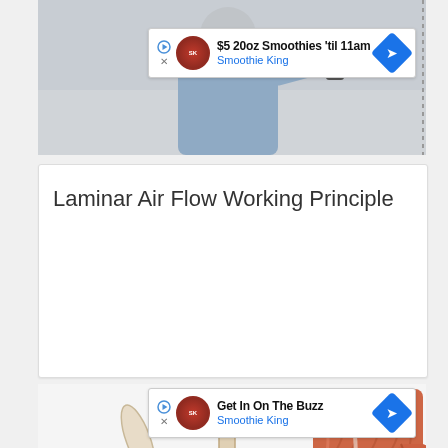[Figure (photo): Video screenshot of a person in a laboratory or medical setting, partially visible at top of page]
[Figure (other): Advertisement banner: '$5 20oz Smoothies til 11am - Smoothie King' with play icon, logo, and blue diamond arrow]
Laminar Air Flow Working Principle
[Figure (illustration): Medical illustration showing human anatomy: skeleton bones on left, hip/pelvis bones in center, muscle tissue on right side, and arm muscles on far right]
[Figure (other): Advertisement banner: 'Get In On The Buzz - Smoothie King' with play icon, logo, and blue diamond arrow]